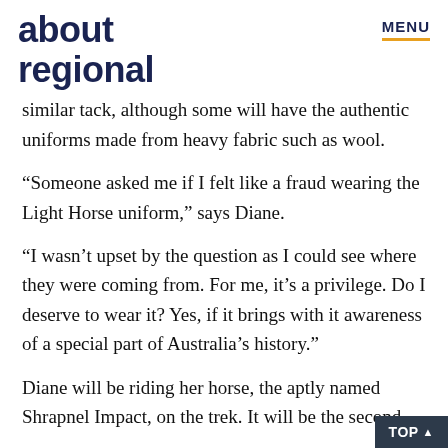about regional
similar tack, although some will have the authentic uniforms made from heavy fabric such as wool.
“Someone asked me if I felt like a fraud wearing the Light Horse uniform,” says Diane.
“I wasn’t upset by the question as I could see where they were coming from. For me, it’s a privilege. Do I deserve to wear it? Yes, if it brings with it awareness of a special part of Australia’s history.”
Diane will be riding her horse, the aptly named Shrapnel Impact, on the trek. It will be the second